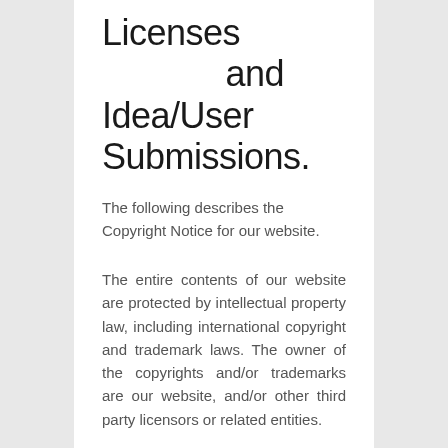Licenses and Idea/User Submissions.
The following describes the Copyright Notice for our website.
The entire contents of our website are protected by intellectual property law, including international copyright and trademark laws. The owner of the copyrights and/or trademarks are our website, and/or other third party licensors or related entities.